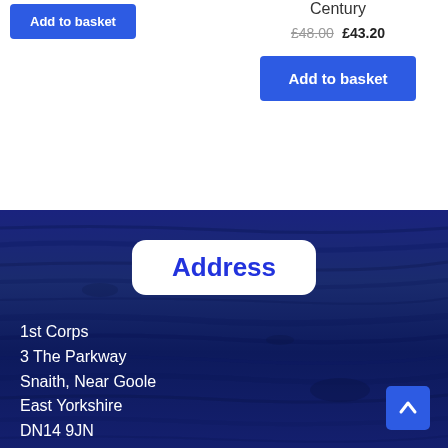Add to basket
Century
£48.00 £43.20
Add to basket
Address
1st Corps
3 The Parkway
Snaith, Near Goole
East Yorkshire
DN14 9JN
UK